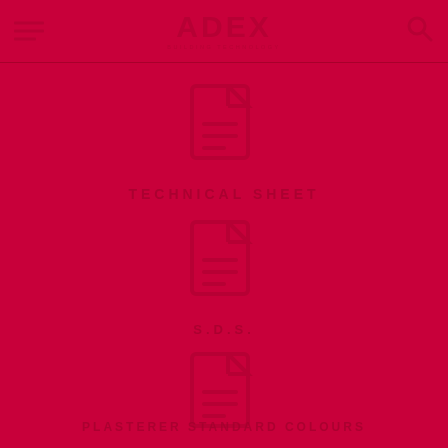[Figure (logo): ADEX logo with tagline in header]
[Figure (illustration): Document/file icon for Technical Sheet section]
TECHNICAL SHEET
[Figure (illustration): Document/file icon for S.D.S. section]
S.D.S.
[Figure (illustration): Document/file icon for Plasterer Standard Colours section]
PLASTERER STANDARD COLOURS